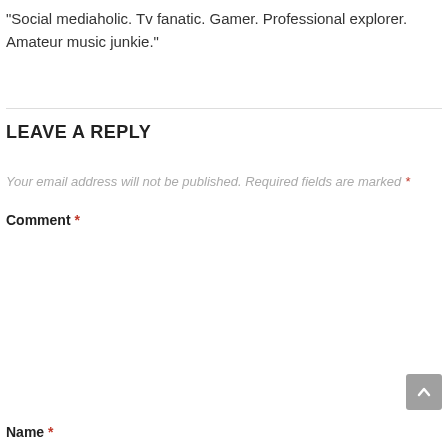"Social mediaholic. Tv fanatic. Gamer. Professional explorer. Amateur music junkie."
LEAVE A REPLY
Your email address will not be published. Required fields are marked *
Comment *
Name *